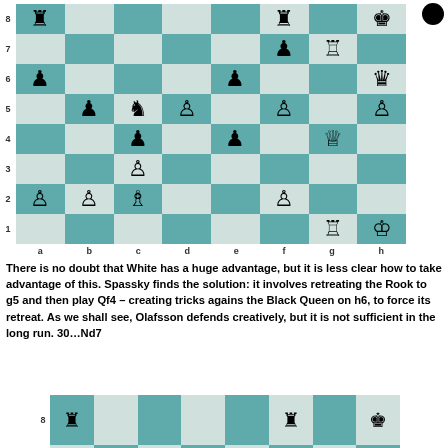[Figure (other): Chess board position showing a middlegame position with White having a large advantage. Position before move 30. Black indicator circle shown top right.]
There is no doubt that White has a huge advantage, but it is less clear how to take advantage of this. Spassky finds the solution: it involves retreating the Rook to g5 and then play Qf4 – creating tricks agains the Black Queen on h6, to force its retreat. As we shall see, Olafsson defends creatively, but it is not sufficient in the long run. 30…Nd7
[Figure (other): Chess board showing position after 30...Nd7 with partial view of rank 7 and 8.]